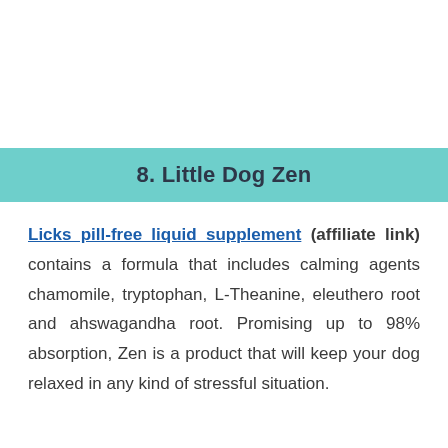8. Little Dog Zen
Licks pill-free liquid supplement (affiliate link) contains a formula that includes calming agents chamomile, tryptophan, L-Theanine, eleuthero root and ahswagandha root. Promising up to 98% absorption, Zen is a product that will keep your dog relaxed in any kind of stressful situation.